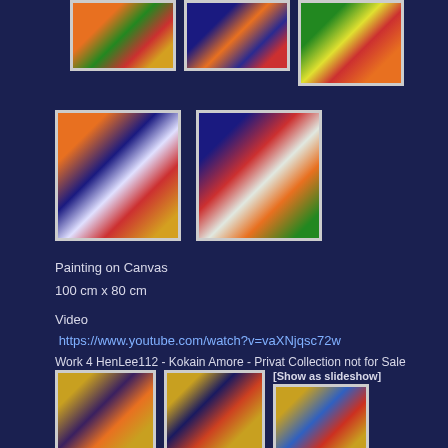[Figure (photo): Three detail photos of a colorful abstract painting, top row]
[Figure (photo): Two detail photos of a colorful abstract painting, middle row]
Painting on Canvas
100 cm x 80 cm
Video
https://www.youtube.com/watch?v=vaXNjqsc72w
Work 4 HenLee112 - Kokain Amore - Privat Collection not for Sale
[Figure (photo): Three detail photos of a warm-toned abstract painting with figures, bottom row, with [Show as slideshow] label]